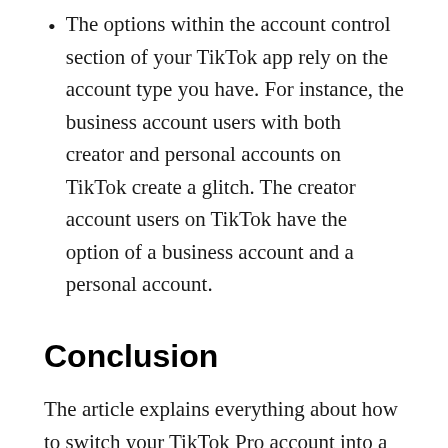The options within the account control section of your TikTok app rely on the account type you have. For instance, the business account users with both creator and personal accounts on TikTok create a glitch. The creator account users on TikTok have the option of a business account and a personal account.
Conclusion
The article explains everything about how to switch your TikTok Pro account into a TikTok personal account. The reasons behind the glitches while switching your TikTok account to the pro account. I hope you found this guest post article interesting; if